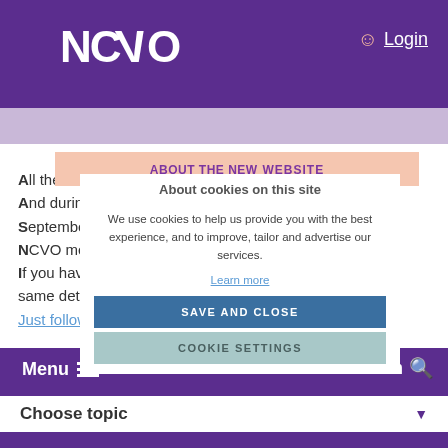[Figure (screenshot): NCVO website screenshot showing purple header with NCVO logo and Login link, partially overlaid by a cookie consent modal. The modal has 'About cookies on this site' header, cookie usage text, Save and Close button, Cookie Settings button. Behind the modal is the NCVO new website welcome page with text about information and NCVO membership. Bottom has purple navigation bar with Menu and Search, and a Choose topic dropdown.]
NCVO
Login
About cookies on this site
We use cookies to help us provide you with the best experience, and to improve, tailor and advertise our services.
Learn more
SAVE AND CLOSE
COOKIE SETTINGS
All the information you need, all in one place. And during August, it's open to everyone. From September, you'll need a website account and NCVO membership to access member benefits. If you have a Knowhow account, simply use the same details to log in. Need help logging in? Just follow these instructions.
Menu
Search
Choose topic